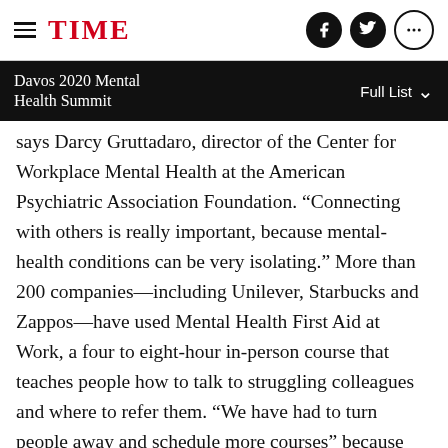TIME
Davos 2020 Mental Health Summit    Full List
says Darcy Gruttadaro, director of the Center for Workplace Mental Health at the American Psychiatric Association Foundation. “Connecting with others is really important, because mental-health conditions can be very isolating.” More than 200 companies—including Unilever, Starbucks and Zappos—have used Mental Health First Aid at Work, a four to eight-hour in-person course that teaches people how to talk to struggling colleagues and where to refer them. “We have had to turn people away and schedule more courses” because it’s so popular, says Cathryn Gunther, associate vice president of global population health at Merck, where employees who take the course are given of the same required training.